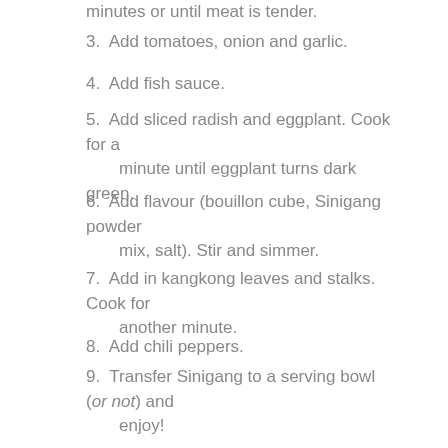minutes or until meat is tender.
3. Add tomatoes, onion and garlic.
4. Add fish sauce.
5. Add sliced radish and eggplant. Cook for a minute until eggplant turns dark green.
6. Add flavour (bouillon cube, Sinigang powder mix, salt). Stir and simmer.
7. Add in kangkong leaves and stalks. Cook for another minute.
8. Add chili peppers.
9. Transfer Sinigang to a serving bowl (or not) and enjoy!
On second thought, sinigang is just tossing everything into one pot. Kinda lazy.
Until next time!